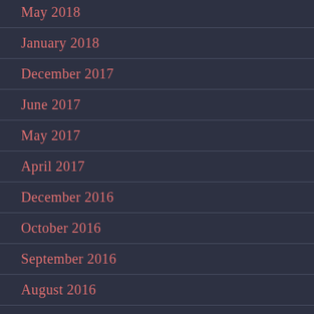May 2018
January 2018
December 2017
June 2017
May 2017
April 2017
December 2016
October 2016
September 2016
August 2016
May 2016
January 2016